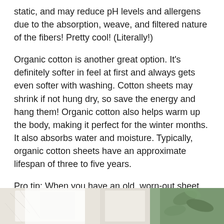static, and may reduce pH levels and allergens due to the absorption, weave, and filtered nature of the fibers! Pretty cool! (Literally!)
Organic cotton is another great option. It's definitely softer in feel at first and always gets even softer with washing. Cotton sheets may shrink if not hung dry, so save the energy and hang them! Organic cotton also helps warm up the body, making it perfect for the winter months. It also absorbs water and moisture. Typically, organic cotton sheets have an approximate lifespan of three to five years.
Pro tip: When you have an old, worn-out sheet, cut it up and turn it into kitchen towels! Reuse!
Here are some of my favorite sustainable bed sheets:
[Figure (photo): Partial view of white bed sheets/linens at the bottom of the page]